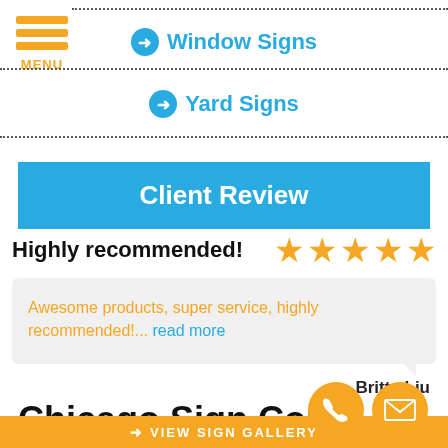[Figure (logo): Orange hamburger menu icon with three horizontal bars and MENU label]
Window Signs
Yard Signs
Client Review
Highly recommended!
[Figure (other): 5 gold star rating]
Awesome products, super service, highly recommended!... read more
- Britta Liu
Chicago Sign Company
[Figure (other): Orange phone icon circle and orange mail icon circle]
VIEW SIGN GALLERY